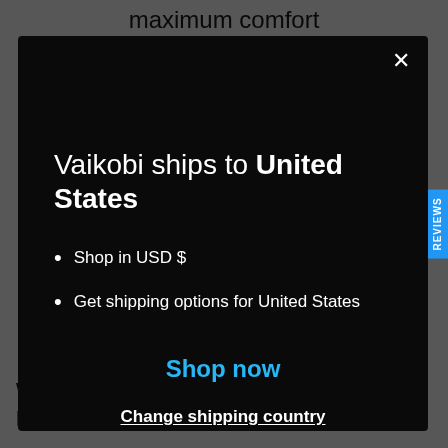maximum comfort and breathability
Vaikobi ships to United States
Shop in USD $
Get shipping options for United States
Shop now
Change shipping country
WHAT SPORTS CAN I WEAR THIS FOR?